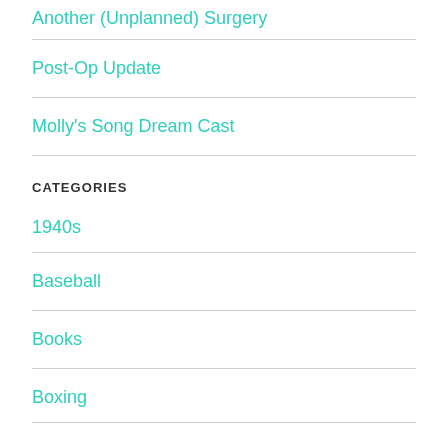Another (Unplanned) Surgery
Post-Op Update
Molly's Song Dream Cast
CATEGORIES
1940s
Baseball
Books
Boxing